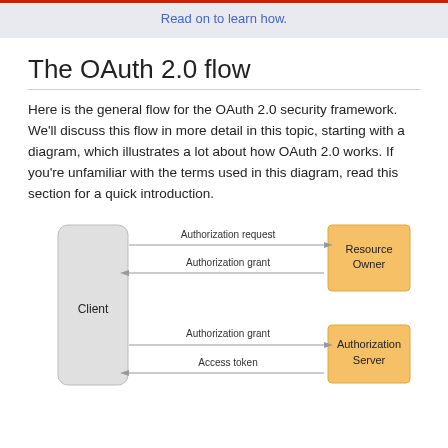Read on to learn how.
The OAuth 2.0 flow
Here is the general flow for the OAuth 2.0 security framework. We'll discuss this flow in more detail in this topic, starting with a diagram, which illustrates a lot about how OAuth 2.0 works. If you're unfamiliar with the terms used in this diagram, read this section for a quick introduction.
[Figure (flowchart): OAuth 2.0 flow diagram showing arrows between Client, Resource Owner, and Authorization Server boxes. Arrows: Authorization request (Client to Resource Owner), Authorization grant (Resource Owner to Client), Authorization grant (Client to Authorization Server), Access token (Authorization Server to Client).]